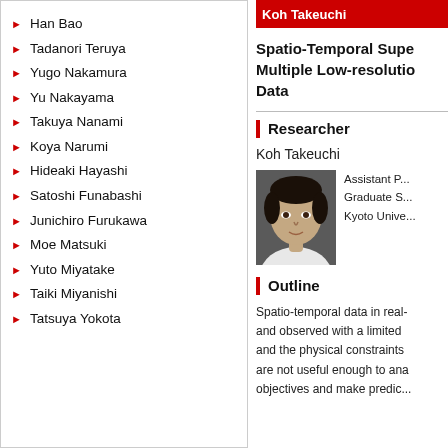Han Bao
Tadanori Teruya
Yugo Nakamura
Yu Nakayama
Takuya Nanami
Koya Narumi
Hideaki Hayashi
Satoshi Funabashi
Junichiro Furukawa
Moe Matsuki
Yuto Miyatake
Taiki Miyanishi
Tatsuya Yokota
Spatio-Temporal Super-Resolution of Multiple Low-resolution Data
Researcher
Koh Takeuchi
[Figure (photo): Headshot photo of researcher Koh Takeuchi]
Assistant P... Graduate S... Kyoto Unive...
Outline
Spatio-temporal data in real- and observed with a limited and the physical constraints are not useful enough to ana objectives and make predi...